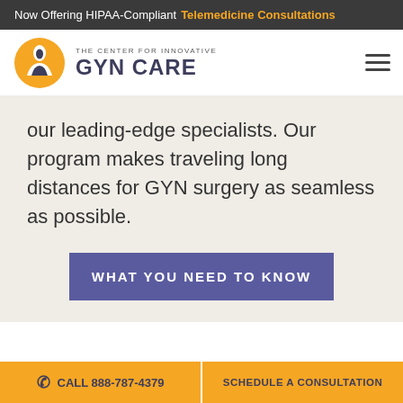Now Offering HIPAA-Compliant Telemedicine Consultations
[Figure (logo): The Center for Innovative GYN Care logo with yellow circular emblem and dark text]
our leading-edge specialists. Our program makes traveling long distances for GYN surgery as seamless as possible.
WHAT YOU NEED TO KNOW
Superior Outcomes Published in
CALL 888-787-4379   SCHEDULE A CONSULTATION